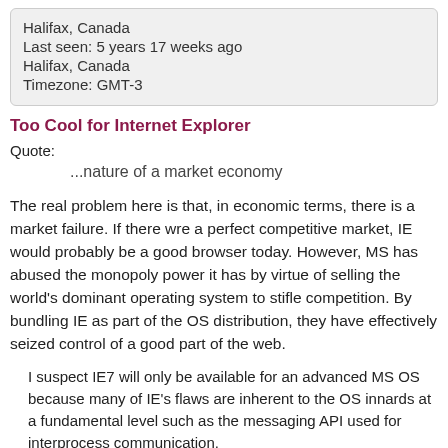Halifax, Canada
Last seen: 5 years 17 weeks ago
Halifax, Canada
Timezone: GMT-3
Too Cool for Internet Explorer
Quote:
...nature of a market economy
The real problem here is that, in economic terms, there is a market failure. If there wre a perfect competitive market, IE would probably be a good browser today. However, MS has abused the monopoly power it has by virtue of selling the world's dominant operating system to stifle competition. By bundling IE as part of the OS distribution, they have effectively seized control of a good part of the web.
I suspect IE7 will only be available for an advanced MS OS because many of IE's flaws are inherent to the OS innards at a fundamental level such as the messaging API used for interprocess communication.
So, wait for that new OS and IE7 and make due with Internet